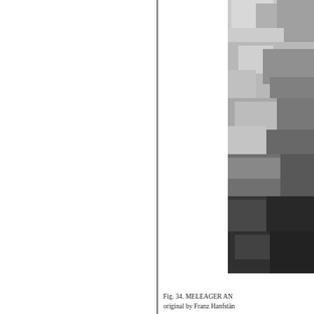[Figure (photo): Partially visible black-and-white photograph of a painting or illustration depicting figures, visible on the right side of the page. The image shows dramatic contrast with dark and light areas, appears to show figures in a classical or historical scene. The image is cropped at the right edge.]
Fig. 34. MELEAGER AN
original by Franz Hanfstän